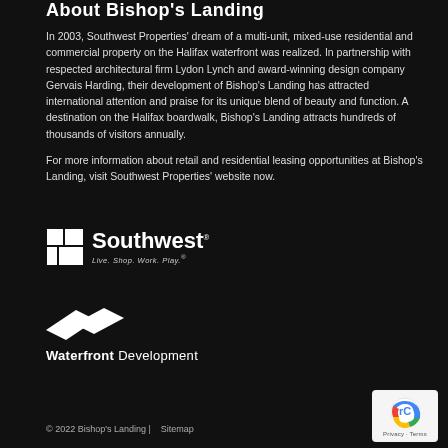About Bishop's Landing
In 2003, Southwest Properties' dream of a multi-unit, mixed-use residential and commercial property on the Halifax waterfront was realized. In partnership with respected architectural firm Lydon Lynch and award-winning design company Gervais Harding, their development of Bishop's Landing has attracted international attention and praise for its unique blend of beauty and function. A destination on the Halifax boardwalk, Bishop's Landing attracts hundreds of thousands of visitors annually.
For more information about retail and residential leasing opportunities at Bishop's Landing, visit Southwest Properties' website now.
[Figure (logo): Southwest Properties logo with grid icon and tagline 'Live. Shop. Work. Play.']
[Figure (logo): Waterfront Development logo with white parallelogram shapes]
© 2022 Bishop's Landing |    Sitemap